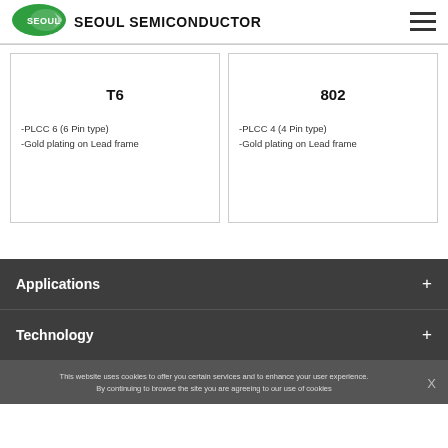SEOUL SEMICONDUCTOR
[Figure (other): Seoul Semiconductor logo - green oval with SEOUL text and white swoosh]
T6
-PLCC 6 (6 Pin type)
-Gold plating on Lead frame
802
-PLCC 4 (4 Pin type)
-Gold plating on Lead frame
Applications
Technology
This website uses cookies to offer you certain services and to enhance your user experience. By continuing to browse the site you are agreeing to our use of cookies